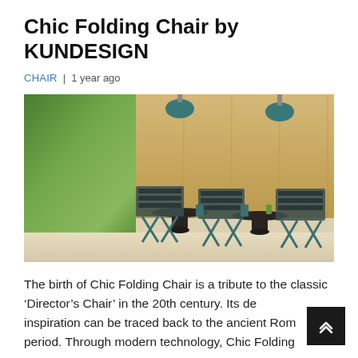Chic Folding Chair by KUNDESIGN
CHAIR  |  1 year ago
[Figure (photo): Interior scene showing three folding director-style chairs with dark wood slats and teal/green metal frames around two round dark pedestal tables, in a modern room with wood-paneled walls, large windows overlooking greenery, and two teal pendant lights hanging from the ceiling.]
The birth of Chic Folding Chair is a tribute to the classic ‘Director’s Chair’ in the 20th century. Its design inspiration can be traced back to the ancient Roman period. Through modern technology, Chic Folding